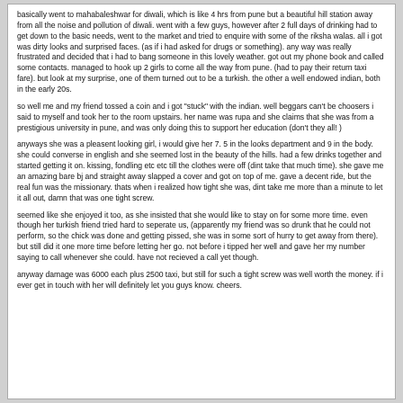basically went to mahabaleshwar for diwali, which is like 4 hrs from pune but a beautiful hill station away from all the noise and pollution of diwali. went with a few guys, however after 2 full days of drinking had to get down to the basic needs, went to the market and tried to enquire with some of the riksha walas. all i got was dirty looks and surprised faces. (as if i had asked for drugs or something). any way was really frustrated and decided that i had to bang someone in this lovely weather. got out my phone book and called some contacts. managed to hook up 2 girls to come all the way from pune. (had to pay their return taxi fare). but look at my surprise, one of them turned out to be a turkish. the other a well endowed indian, both in the early 20s.
so well me and my friend tossed a coin and i got "stuck" with the indian. well beggars can't be choosers i said to myself and took her to the room upstairs. her name was rupa and she claims that she was from a prestigious university in pune, and was only doing this to support her education (don't they all! )
anyways she was a pleasent looking girl, i would give her 7. 5 in the looks department and 9 in the body. she could converse in english and she seemed lost in the beauty of the hills. had a few drinks together and started getting it on. kissing, fondling etc etc till the clothes were off (dint take that much time). she gave me an amazing bare bj and straight away slapped a cover and got on top of me. gave a decent ride, but the real fun was the missionary. thats when i realized how tight she was, dint take me more than a minute to let it all out, damn that was one tight screw.
seemed like she enjoyed it too, as she insisted that she would like to stay on for some more time. even though her turkish friend tried hard to seperate us, (apparently my friend was so drunk that he could not perform, so the chick was done and getting pissed, she was in some sort of hurry to get away from there). but still did it one more time before letting her go. not before i tipped her well and gave her my number saying to call whenever she could. have not recieved a call yet though.
anyway damage was 6000 each plus 2500 taxi, but still for such a tight screw was well worth the money. if i ever get in touch with her will definitely let you guys know. cheers.